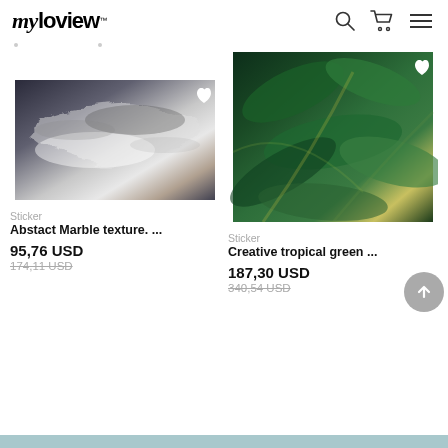myloview
[Figure (photo): Abstract marble texture photo with swirling black, grey and white patterns with a heart/favorite icon overlay]
Sticker
Abstact Marble texture. ...
95,76 USD
174,11 USD
[Figure (photo): Creative tropical green leaves photo with dense jungle foliage including palm and monstera leaves, with a heart/favorite icon overlay]
Sticker
Creative tropical green ...
187,30 USD
340,54 USD